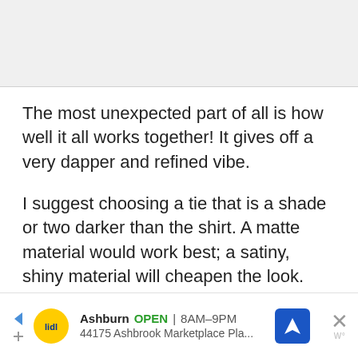The most unexpected part of all is how well it all works together! It gives off a very dapper and refined vibe.
I suggest choosing a tie that is a shade or two darker than the shirt. A matte material would work best; a satiny, shiny material will cheapen the look.
[Figure (other): Advertisement banner for Lidl store in Ashburn, showing store logo, open hours 8AM-9PM, address 44175 Ashbrook Marketplace Pla..., navigation icon, and close button]